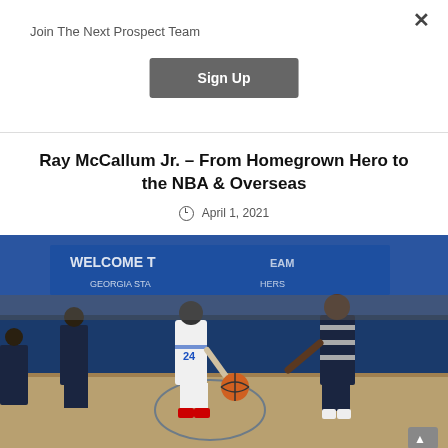Join The Next Prospect Team
Sign Up
Ray McCallum Jr. – From Homegrown Hero to the NBA & Overseas
April 1, 2021
[Figure (photo): Basketball game photo showing a Georgia State player number 24 in a white uniform dribbling the ball past a defender in a dark uniform, with 'Welcome to Georgia State Panthers' signage visible in the background arena.]